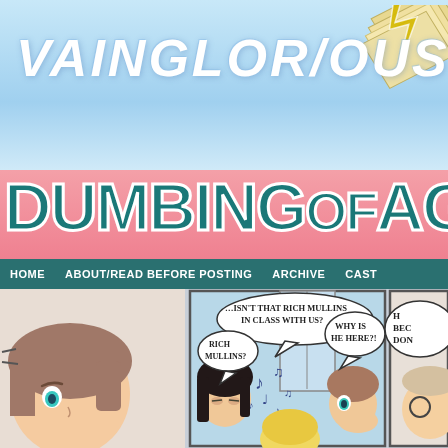VAINGLORIOUS
[Figure (logo): Lightning bolt / flying pages graphic in top right corner]
DUMBING OF AGE
HOME   ABOUT/READ BEFORE POSTING   ARCHIVE   CAST
[Figure (illustration): Webcomic strip panels showing characters with speech bubbles: '...ISN'T THAT RICH MULLINS IN CLASS WITH US?', 'RICH MULLINS?', 'WHY IS HE HERE?!', and a partially visible fourth panel. Characters include a girl with brown hair and blue eyes, a dark-haired person, a blonde person, and a person covering their mouth in surprise. Musical notes are shown floating in the middle panel.]